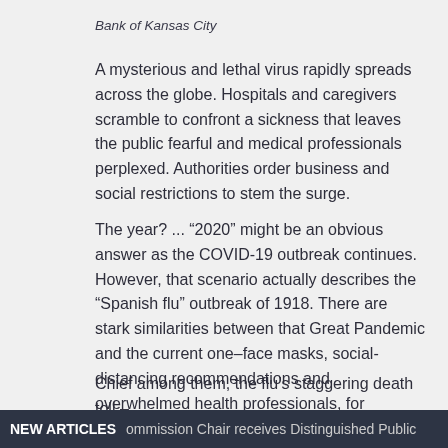Bank of Kansas City
A mysterious and lethal virus rapidly spreads across the globe. Hospitals and caregivers scramble to confront a sickness that leaves the public fearful and medical professionals perplexed. Authorities order business and social restrictions to stem the surge.
The year? ... “2020” might be an obvious answer as the COVID-19 outbreak continues. However, that scenario actually describes the “Spanish flu” outbreak of 1918. There are stark similarities between that Great Pandemic and the current one–face masks, social-distancing recommendations and overwhelmed health professionals, for example. However, there are many important differences.
Chief among them, the flu’s staggering death toll – estimated at more than 50 million people worldwide
NEW ARTICLES   ommission Chair receives Distinguished Public